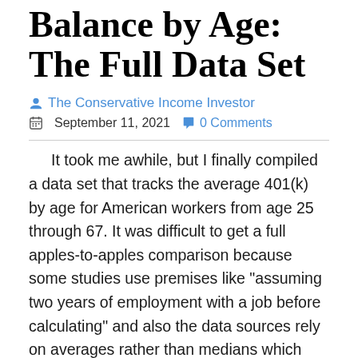Balance by Age: The Full Data Set
The Conservative Income Investor
September 11, 2021   0 Comments
It took me awhile, but I finally compiled a data set that tracks the average 401(k) by age for American workers from age 25 through 67. It was difficult to get a full apples-to-apples comparison because some studies use premises like "assuming two years of employment with a job before calculating" and also the data sources rely on averages rather than medians which has the affect of an upward skew because people with millions of dollars in a 401(k) raise the numbers of